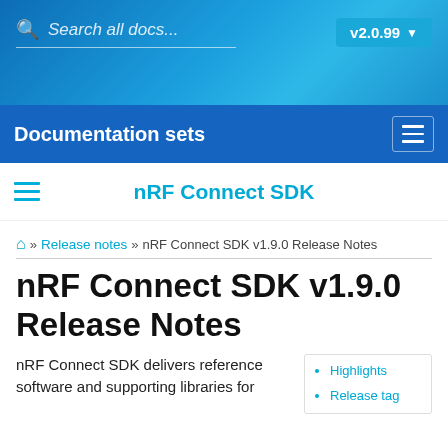Search all docs... v2.0.99
Documentation sets
nRF Connect SDK
» Release notes » nRF Connect SDK v1.9.0 Release Notes
nRF Connect SDK v1.9.0 Release Notes
nRF Connect SDK delivers reference software and supporting libraries for
Highlights
Release tag